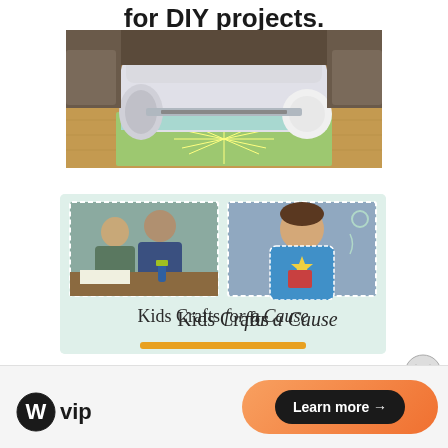for DIY projects.
[Figure (photo): A Cricut cutting machine on a wooden table with pens in a holder, showing a green cutting mat with a decorative cut pattern underneath the machine lid.]
[Figure (illustration): Kids Crafts for a Cause advertisement banner. Shows two photos: children doing crafts at a table on the left, and a girl holding a blue handmade bag on the right. Background is light mint green. Text reads 'Kids Crafts for a Cause' with an orange bar underneath.]
Kids Crafts for a Cause
Advertisements
[Figure (logo): WordPress VIP logo — WordPress W icon followed by 'vip' text in bold.]
[Figure (other): Orange gradient button with black pill shape reading 'Learn more →']